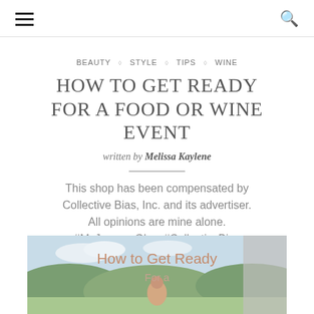≡  🔍
BEAUTY ◇ STYLE ◇ TIPS ◇ WINE
HOW TO GET READY FOR A FOOD OR WINE EVENT
written by Melissa Kaylene
This shop has been compensated by Collective Bias, Inc. and its advertiser. All opinions are mine alone. #MyJergensGlow #CollectiveBias
[Figure (photo): Photo of outdoor vineyard/landscape with a woman, overlaid with the text 'How to Get Ready For a']